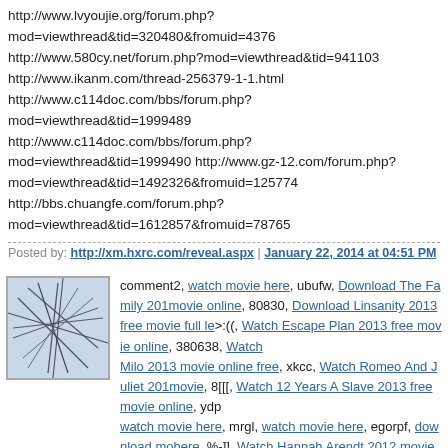http://www.lvyoujie.org/forum.php?mod=viewthread&tid=320480&fromuid=4376 http://www.580cy.net/forum.php?mod=viewthread&tid=941103 http://www.ikanm.com/thread-256379-1-1.html http://www.c114doc.com/bbs/forum.php?mod=viewthread&tid=1999489 http://www.c114doc.com/bbs/forum.php?mod=viewthread&tid=1999490 http://www.gz-12.com/forum.php?mod=viewthread&tid=1492326&fromuid=125774 http://bbs.chuangfe.com/forum.php?mod=viewthread&tid=1612857&fromuid=78765
Posted by: http://xm.hxrc.com/reveal.aspx | January 22, 2014 at 04:51 PM
[Figure (illustration): Avatar image showing abstract line drawing on light blue background]
comment2, watch movie here, ubufw, Download The Family 2013 movie online, 80830, Download Linsanity 2013 free movie full le >:((, Watch Escape Plan 2013 free movie online, 380638, Watch Milo 2013 movie online free, xkcc, Watch Romeo And Juliet 2013 movie, 8[[[, Watch 12 Years A Slave 2013 free movie online, ydp watch movie here, mrgl, watch movie here, egorpf, download mo here, %-]], Watch Hannah Arendt 2012 movie online free, 4884, Download Machete Kills 2013 movie online, =]], The Inevitable D Of Mister & Pete 2013 full length free movie online, ueqis, Watc